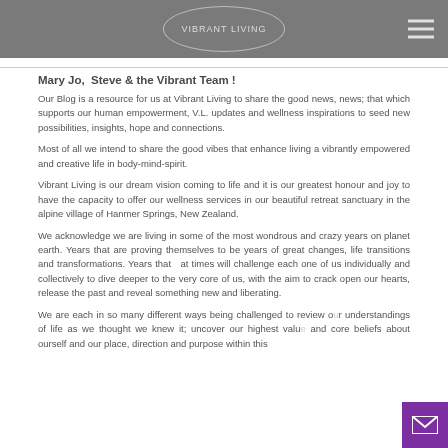Vibrant Living
Mary Jo,  Steve & the Vibrant Team !
Our Blog is a resource for us at Vibrant Living to share the good news, news; that which supports our human empowerment, V.L. updates and wellness inspirations to seed new possibilities, insights, hope and connections.
Most of all we intend to share the good vibes that enhance living a vibrantly empowered and creative life in body-mind-spirit.
Vibrant Living is our dream vision coming to life and it is our greatest honour and joy to have the capacity to offer our wellness services in our beautiful retreat sanctuary in the alpine village of Hanmer Springs, New Zealand.
We acknowledge we are living in some of the most wondrous and crazy years on planet earth. Years that are proving themselves to be years of great changes, life transitions and transformations. Years that at times will challenge each one of us individually and collectively to dive deeper to the very core of us, with the aim to crack open our hearts, release the past and reveal something new and liberating.
We are each in so many different ways being challenged to review our understandings of life as we thought we knew it; uncover our highest values and core beliefs about ourself and our place, direction and purpose within this